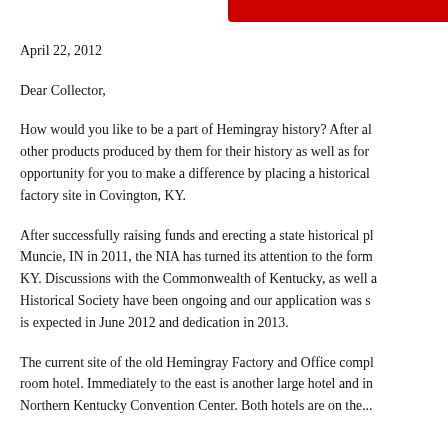[red bar header graphic]
April 22, 2012
Dear Collector,
How would you like to be a part of Hemingray history? After all, collectors seek insulators and other products produced by them for their history as well as for their beauty. Now you have an opportunity for you to make a difference by placing a historical marker at the former Hemingray factory site in Covington, KY.
After successfully raising funds and erecting a state historical plaque at the former factory in Muncie, IN in 2011, the NIA has turned its attention to the former Hemingray factory in Covington, KY. Discussions with the Commonwealth of Kentucky, as well as the Kentucky Historical Society have been ongoing and our application was submitted. Approval is expected in June 2012 and dedication in 2013.
The current site of the old Hemingray Factory and Office complex is now occupied by a large room hotel. Immediately to the east is another large hotel and in the near vicinity is the Northern Kentucky Convention Center. Both hotels are on the...